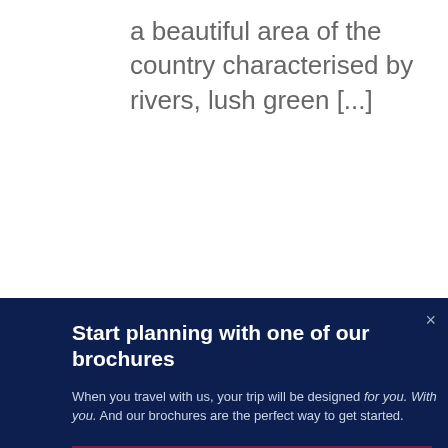a beautiful area of the country characterised by rivers, lush green [...]
[Figure (screenshot): Modal popup on a travel website with dark navy background, left orange/sunset image strip, right pink strip, and bottom photo of Buddhist monks in orange robes walking in procession]
Start planning with one of our brochures
When you travel with us, your trip will be designed for you. With you. And our brochures are the perfect way to get started.
View our brochures